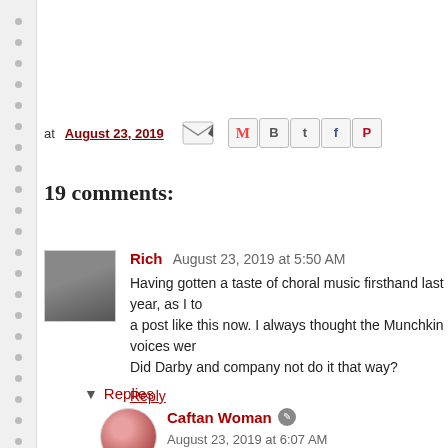at August 23, 2019
19 comments:
Rich   August 23, 2019 at 5:50 AM
Having gotten a taste of choral music firsthand last year, as I to a post like this now. I always thought the Munchkin voices wer Did Darby and company not do it that way?
Reply
▼ Replies
Caftan Woman  August 23, 2019 at 6:07 AM
I couldn't find any technical details when I was wor